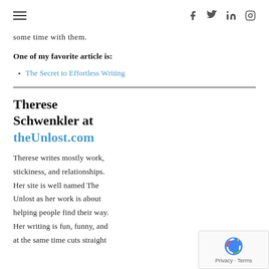≡  f  twitter  linkedin  instagram
some time with them.
One of my favorite article is:
The Secret to Effortless Writing
Therese Schwenkler at theUnlost.com
Therese writes mostly work, stickiness, and relationships. Her site is well named The Unlost as her work is about helping people find their way. Her writing is fun, funny, and at the same time cuts straight